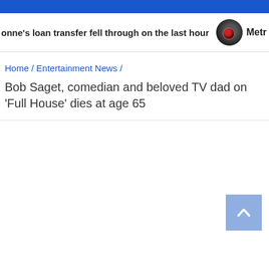onne's loan transfer fell through on the last hour  Metr
Home / Entertainment News /
Bob Saget, comedian and beloved TV dad on 'Full House' dies at age 65
[Figure (other): Scroll to top button with upward chevron arrow, light blue background]